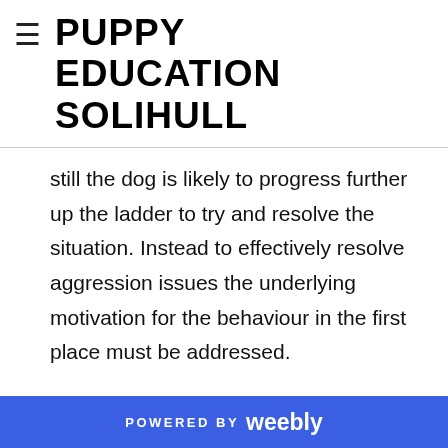PUPPY EDUCATION SOLIHULL
still the dog is likely to progress further up the ladder to try and resolve the situation. Instead to effectively resolve aggression issues the underlying motivation for the behaviour in the first place must be addressed.
[Figure (other): Twitter Tweet button with bird logo]
News...
POWERED BY weebly